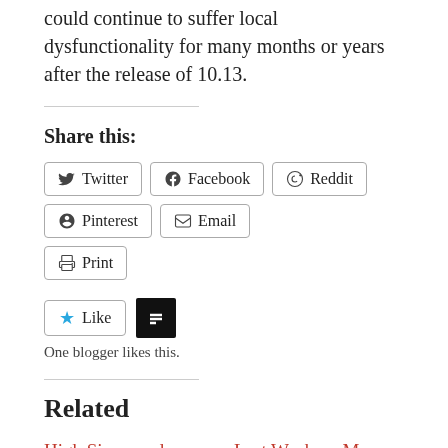could continue to suffer local dysfunctionality for many months or years after the release of 10.13.
Share this:
Twitter Facebook Reddit Pinterest Email Print
Like  One blogger likes this.
Related
High Sierra and filenames: Apple is
Last Week on My Mac: Summer's coming